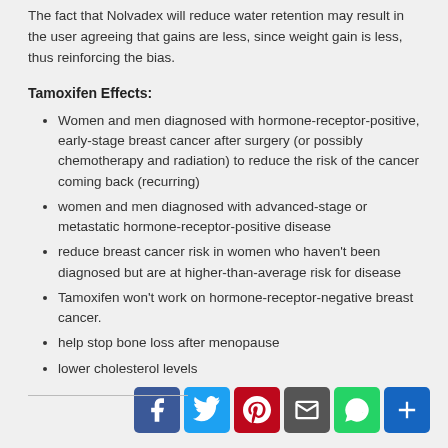The fact that Nolvadex will reduce water retention may result in the user agreeing that gains are less, since weight gain is less, thus reinforcing the bias.
Tamoxifen Effects:
Women and men diagnosed with hormone-receptor-positive, early-stage breast cancer after surgery (or possibly chemotherapy and radiation) to reduce the risk of the cancer coming back (recurring)
women and men diagnosed with advanced-stage or metastatic hormone-receptor-positive disease
reduce breast cancer risk in women who haven't been diagnosed but are at higher-than-average risk for disease
Tamoxifen won't work on hormone-receptor-negative breast cancer.
help stop bone loss after menopause
lower cholesterol levels